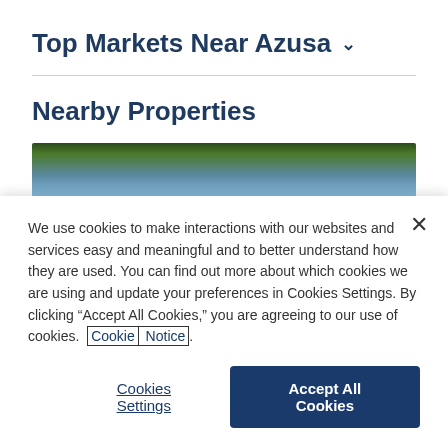Top Markets Near Azusa ∨
Nearby Properties
[Figure (photo): Partial photo of a property with trees and blue sky, partially obscured by cookie banner]
We use cookies to make interactions with our websites and services easy and meaningful and to better understand how they are used. You can find out more about which cookies we are using and update your preferences in Cookies Settings. By clicking “Accept All Cookies,” you are agreeing to our use of cookies. Cookie Notice.
Cookies Settings
Accept All Cookies